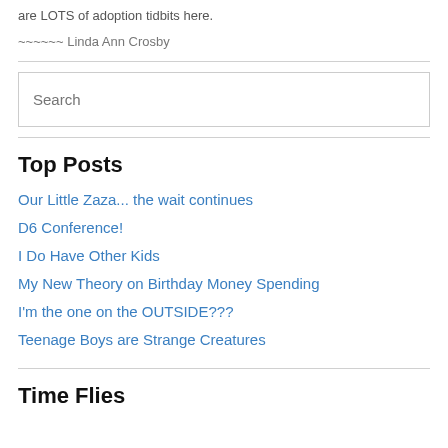are LOTS of adoption tidbits here.
~~~~~~ Linda Ann Crosby
Top Posts
Our Little Zaza... the wait continues
D6 Conference!
I Do Have Other Kids
My New Theory on Birthday Money Spending
I'm the one on the OUTSIDE???
Teenage Boys are Strange Creatures
Time Flies